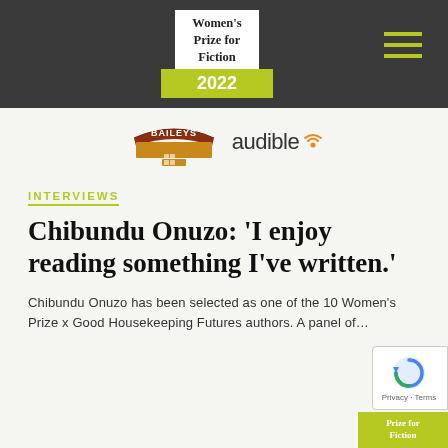Women's Prize for Fiction 2022
[Figure (logo): Baileys logo and Audible logo side by side as sponsor logos]
INTERVIEWS
Chibundu Onuzo: 'I enjoy reading something I've written.'
Chibundu Onuzo has been selected as one of the 10 Women's Prize x Good Housekeeping Futures authors. A panel of…